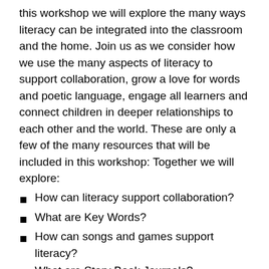this workshop we will explore the many ways literacy can be integrated into the classroom and the home. Join us as we consider how we use the many aspects of literacy to support collaboration, grow a love for words and poetic language, engage all learners and connect children in deeper relationships to each other and the world. These are only a few of the many resources that will be included in this workshop: Together we will explore:
How can literacy support collaboration?
What are Key Words?
How can songs and games support literacy?
What are Story Book Journals?
How to support in-depth and on-going narratives.
How to keep letter writing engaging for learners of all types.
How can literacy support personal and emotional